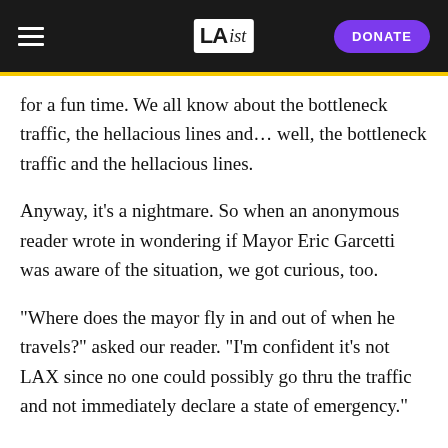LAist | DONATE
for a fun time. We all know about the bottleneck traffic, the hellacious lines and… well, the bottleneck traffic and the hellacious lines.
Anyway, it's a nightmare. So when an anonymous reader wrote in wondering if Mayor Eric Garcetti was aware of the situation, we got curious, too.
"Where does the mayor fly in and out of when he travels?" asked our reader. "I'm confident it's not LAX since no one could possibly go thru the traffic and not immediately declare a state of emergency."